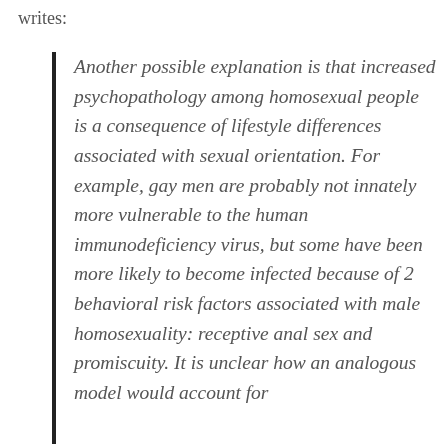writes:
Another possible explanation is that increased psychopathology among homosexual people is a consequence of lifestyle differences associated with sexual orientation. For example, gay men are probably not innately more vulnerable to the human immunodeficiency virus, but some have been more likely to become infected because of 2 behavioral risk factors associated with male homosexuality: receptive anal sex and promiscuity. It is unclear how an analogous model would account for